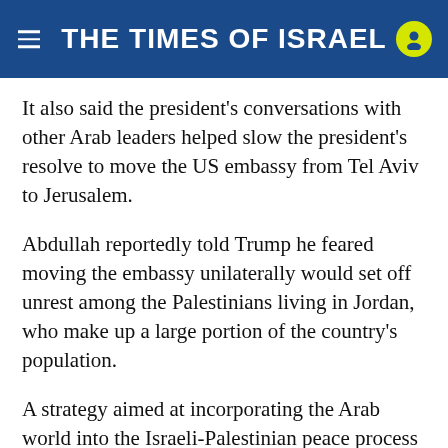THE TIMES OF ISRAEL
It also said the president's conversations with other Arab leaders helped slow the president's resolve to move the US embassy from Tel Aviv to Jerusalem.
Abdullah reportedly told Trump he feared moving the embassy unilaterally would set off unrest among the Palestinians living in Jordan, who make up a large portion of the country's population.
A strategy aimed at incorporating the Arab world into the Israeli-Palestinian peace process is not necessarily original. Former president George H.W. Bush and his secretary of state James Baker organized the Madrid Peace Conference in 1991. And former president George W. Bush with his